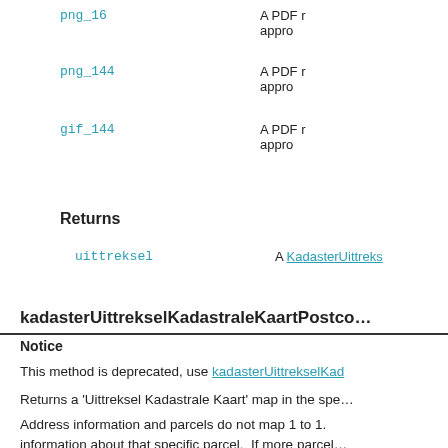| Parameter | Description |
| --- | --- |
| png_16 | A PDF… appro… |
| png_144 | A PDF… appro… |
| gif_144 | A PDF… appro… |
Returns
| Name | Description |
| --- | --- |
| uittreksel | A KadasterUittreks… |
kadasterUittrekselKadastraleKaartPostco…
Notice
This method is deprecated, use kadasterUittrekselKad…
Returns a ‘Uittreksel Kadastrale Kaart’ map in the spe…
Address information and parcels do not map 1 to 1. information about that specific parcel. If more parcel…